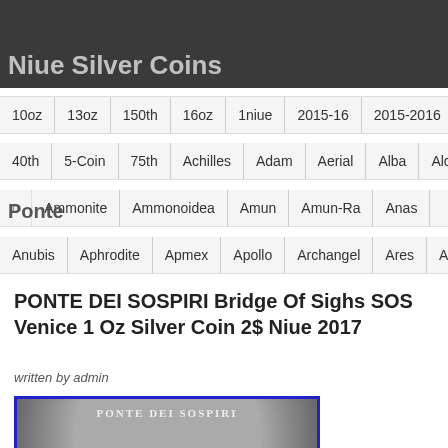Niue Silver Coins
10oz | 13oz | 150th | 16oz | 1niue | 2015-16 | 2015-2016 | 2...
40th | 5-Coin | 75th | Achilles | Adam | Aerial | Alba | Alche...
Ponte | ...n | Ammonite | Ammonoidea | Amun | Amun-Ra | Anas...
Anubis | Aphrodite | Apmex | Apollo | Archangel | Ares | Arte...
PONTE DEI SOSPIRI Bridge Of Sighs SOS Venice 1 Oz Silver Coin 2$ Niue 2017
written by admin
[Figure (photo): Silver coin showing Bridge of Sighs (Ponte dei Sospiri) in Venice, with 'PONTE DEI SOSPIRI' text arched at the top of the coin]